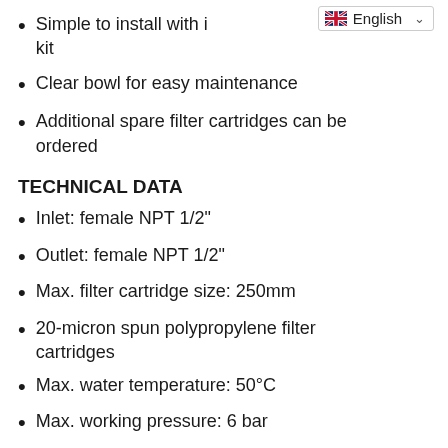Simple to install with included kit
Clear bowl for easy maintenance
Additional spare filter cartridges can be ordered
TECHNICAL DATA
Inlet: female NPT 1/2"
Outlet: female NPT 1/2"
Max. filter cartridge size: 250mm
20-micron spun polypropylene filter cartridges
Max. water temperature: 50°C
Max. working pressure: 6 bar
Meets the requirements for CE